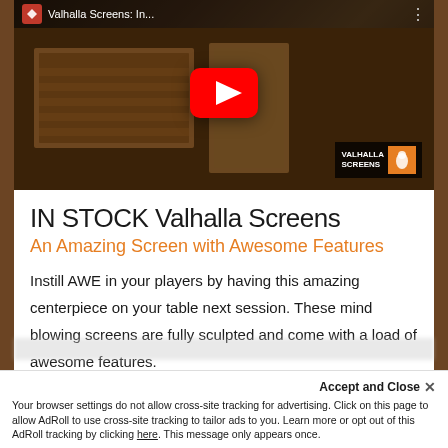[Figure (screenshot): YouTube video thumbnail for 'Valhalla Screens: In...' showing a sculpted gaming screen with a YouTube play button overlay and Valhalla Screens branding in bottom right]
IN STOCK Valhalla Screens
An Amazing Screen with Awesome Features
Instill AWE in your players by having this amazing centerpiece on your table next session. These mind blowing screens are fully sculpted and come with a load of awesome features.
Accept and Close ✕ Your browser settings do not allow cross-site tracking for advertising. Click on this page to allow AdRoll to use cross-site tracking to tailor ads to you. Learn more or opt out of this AdRoll tracking by clicking here. This message only appears once.